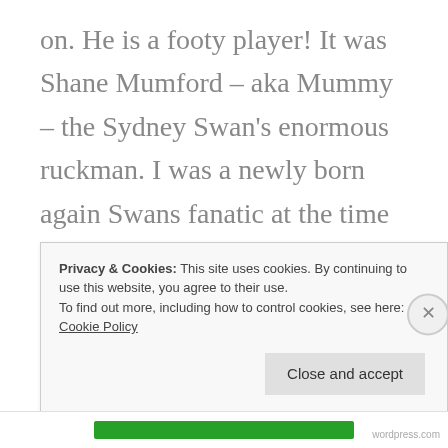on. He is a footy player! It was Shane Mumford – aka Mummy – the Sydney Swan's enormous ruckman. I was a newly born again Swans fanatic at the time and was even wearing my prized black hooded Swans jacket. I reached for my phone and the nerve to approach him for a selfie. But I stopped myself. Here was a guy just
Privacy & Cookies: This site uses cookies. By continuing to use this website, you agree to their use.
To find out more, including how to control cookies, see here:
Cookie Policy
Close and accept